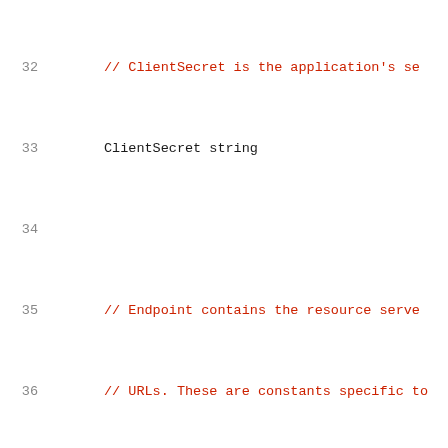32    // ClientSecret is the application's se
33        ClientSecret string
34
35        // Endpoint contains the resource serve
36        // URLs. These are constants specific to
37        // often available via site-specific pa
38        // google.Endpoint or github.Endpoint.
39        Endpoint Endpoint
40
41        // RedirectURL is the URL to redirect us
42        // the OAuth flow, after the resource ow
43        RedirectURL string
44
45        // Scope specifies optional requested pe
46        Scopes []string
47    }
48
49    // A TokenSource is anything that can return a
50    type TokenSource interface {
51        // Token returns a token or an error.
52        // Token must be safe for concurrent use